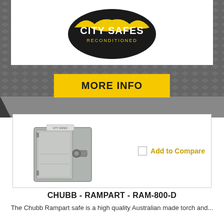[Figure (logo): City Safes Reconditioned logo — oval black badge with yellow bat silhouette and white text reading CITY SAFES RECONDITIONED]
MORE INFO
[Figure (photo): Grey Chubb Rampart RAM-800-D safe with open door showing interior shelving, lock mechanism on front, and City Safes label on top]
Add to Compare
CHUBB - RAMPART - RAM-800-D
The Chubb Rampart safe is a high quality Australian made torch and...